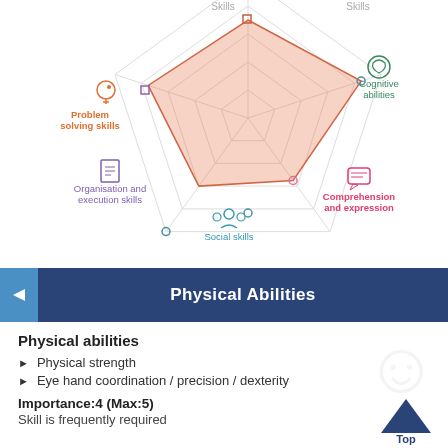[Figure (radar-chart): Radar/spider chart showing skill levels across 5 dimensions: Problem solving skills, Cognitive abilities, Comprehension and expression, Social skills, Organisation and execution skills. The filled orange polygon represents scores.]
Physical Abilities
Physical abilities
Physical strength
Eye hand coordination / precision / dexterity
Importance:4 (Max:5)
Skill is frequently required